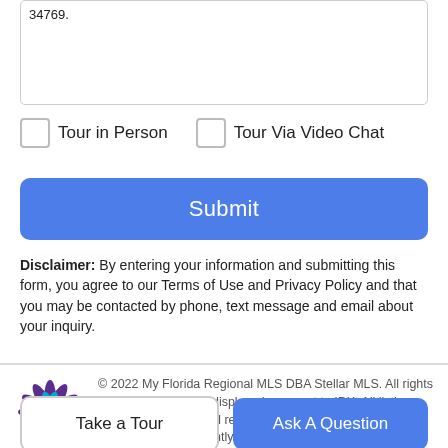34769.
Tour in Person
Tour Via Video Chat
Submit
Disclaimer: By entering your information and submitting this form, you agree to our Terms of Use and Privacy Policy and that you may be contacted by phone, text message and email about your inquiry.
[Figure (logo): Stellar MLS logo — purple and teal sunburst/flower design]
© 2022 My Florida Regional MLS DBA Stellar MLS. All rights reserved. All listings displayed pursuant to IDX. All listing information is deemed reliable but not guaranteed, and should be independently verified. All listings
Take a Tour
Ask A Question